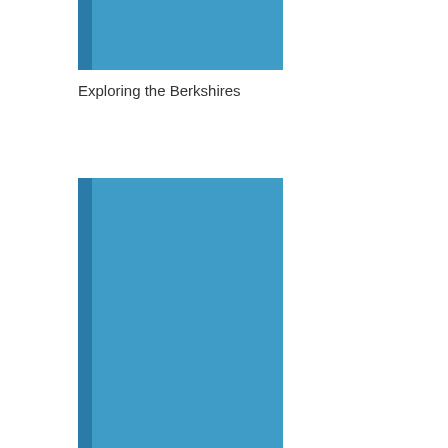[Figure (illustration): A rectangular blue book or cover shape with a darker blue spine on the left side, cropped at the top of the page]
Exploring the Berkshires
[Figure (illustration): A rectangular blue book or cover shape with a darker blue spine on the left side, taking up the lower half of the page, partially cropped at the bottom]